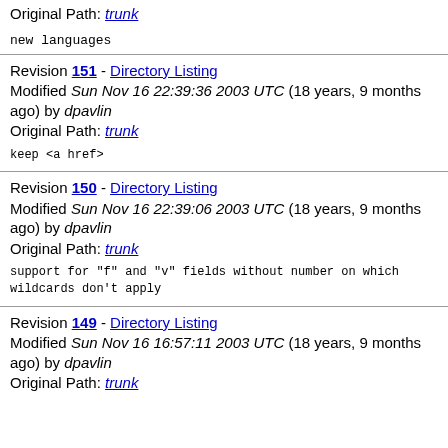Original Path: trunk
new languages
Revision 151 - Directory Listing
Modified Sun Nov 16 22:39:36 2003 UTC (18 years, 9 months ago) by dpavlin
Original Path: trunk
keep <a href>
Revision 150 - Directory Listing
Modified Sun Nov 16 22:39:06 2003 UTC (18 years, 9 months ago) by dpavlin
Original Path: trunk
support for "f" and "v" fields without number on which wildcards don't apply
Revision 149 - Directory Listing
Modified Sun Nov 16 16:57:11 2003 UTC (18 years, 9 months ago) by dpavlin
Original Path: trunk